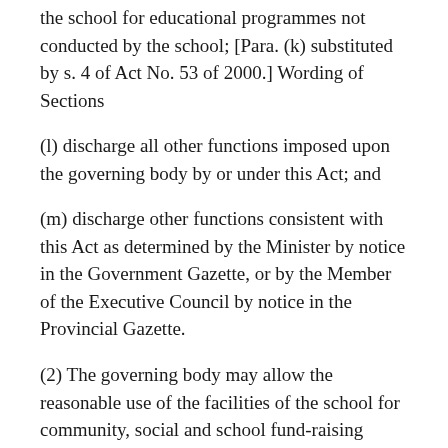the school for educational programmes not conducted by the school; [Para. (k) substituted by s. 4 of Act No. 53 of 2000.] Wording of Sections
(l) discharge all other functions imposed upon the governing body by or under this Act; and
(m) discharge other functions consistent with this Act as determined by the Minister by notice in the Government Gazette, or by the Member of the Executive Council by notice in the Provincial Gazette.
(2) The governing body may allow the reasonable use of the facilities of the school for community, social and school fund-raising purposes, subject to such reasonable and equitable conditions as